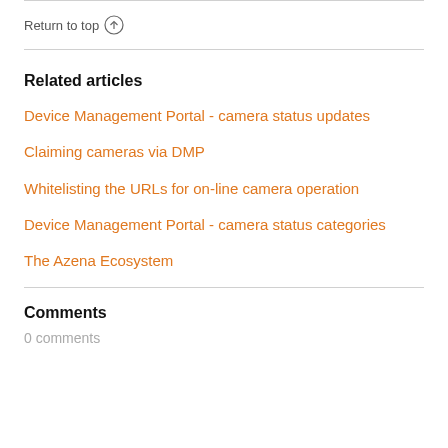Return to top ↑
Related articles
Device Management Portal - camera status updates
Claiming cameras via DMP
Whitelisting the URLs for on-line camera operation
Device Management Portal - camera status categories
The Azena Ecosystem
Comments
0 comments